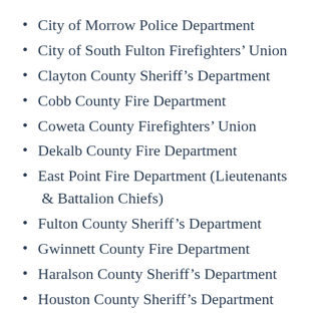City of Morrow Police Department
City of South Fulton Firefighters’ Union
Clayton County Sheriff’s Department
Cobb County Fire Department
Coweta County Firefighters’ Union
Dekalb County Fire Department
East Point Fire Department (Lieutenants & Battalion Chiefs)
Fulton County Sheriff’s Department
Gwinnett County Fire Department
Haralson County Sheriff’s Department
Houston County Sheriff’s Department
Jasper County Fire and Rescue
Lifeline EMS (Private First Responders)